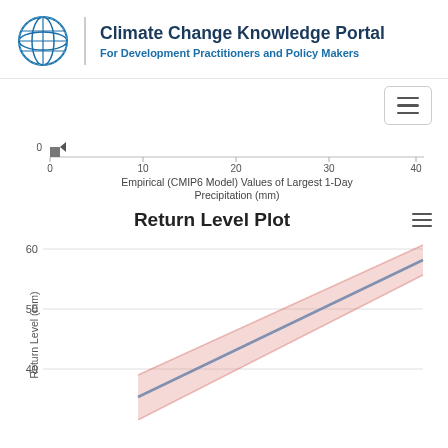Climate Change Knowledge Portal
For Development Practitioners and Policy Makers
[Figure (continuous-plot): Scatter/quantile plot of empirical CMIP6 model values of largest 1-day precipitation (mm). X-axis from 0 to ~42, y-axis shows 0. A small gray square marker is visible near (0,0).]
Return Level Plot
[Figure (continuous-plot): Return Level Plot showing a rising line chart with a salmon/pink confidence interval band. Y-axis shows Return Level (mm) with ticks at 40, 50, 60. The line rises from lower left to upper right, with the pink confidence band widening toward the right.]